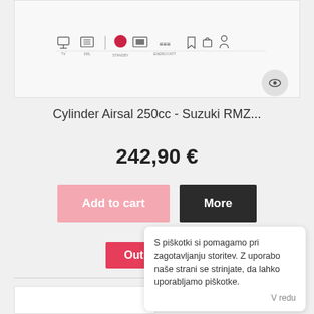[Figure (screenshot): Product listing image area showing icon bar with various icons (wifi, signal, red circle/wifi, car icon, ENERGY, bookmark, lock, device icons) and an eye icon badge in bottom-right corner]
Cylinder Airsal 250cc - Suzuki RMZ...
242,90 €
Add to cart
More
Out of stock
♡ Add to Wishlist
+ Add to Compare
S piškotki si pomagamo pri zagotavljanju storitev. Z uporabo naše strani se strinjate, da lahko uporabljamo piškotke. V redu